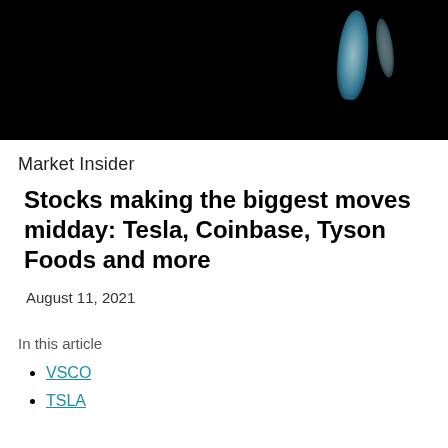[Figure (photo): Dark hero image with a glowing blue/teal light source visible on the right side against a black background]
Market Insider
Stocks making the biggest moves midday: Tesla, Coinbase, Tyson Foods and more
August 11, 2021
In this article
VSCO
TSLA